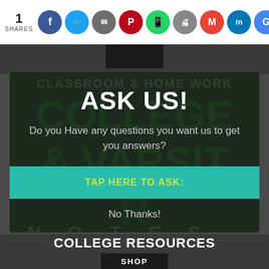1 SHARES
[Figure (infographic): Social sharing icons row: Facebook, Twitter, Share, Pinterest, WhatsApp, Print, Gmail, LinkedIn, Google]
ASK US!
Do you Have any questions you want us to get you answers?
TAP HERE TO ASK:
No Thanks!
COLLEGE RESOURCES
SHOP